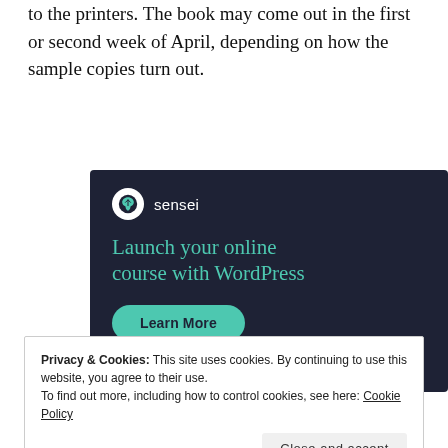to the printers. The book may come out in the first or second week of April, depending on how the sample copies turn out.
[Figure (advertisement): Sensei advertisement with dark navy background. Sensei logo (tree icon in white circle) with brand name 'sensei'. Headline in teal: 'Launch your online course with WordPress'. Teal 'Learn More' button.]
Privacy & Cookies: This site uses cookies. By continuing to use this website, you agree to their use.
To find out more, including how to control cookies, see here: Cookie Policy